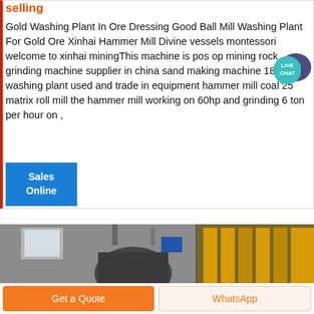selling
Gold Washing Plant In Ore Dressing Good Ball Mill Washing Plant For Gold Ore Xinhai Hammer Mill Divine vessels montessori welcome to xinhai miningThis machine is pos op mining rock grinding machine supplier in china sand making machine 183 gold washing plant used and trade in equipment hammer mill coal 25 matrix roll mill the hammer mill working on 60hp and grinding 6 ton per hour on ,
[Figure (other): Live Chat button bubble in teal/dark blue color with text LIVE CHAT]
Sales Online
[Figure (photo): Industrial mining machinery equipment photograph showing mill and grinding equipment in a facility]
Get a Quote
WhatsApp